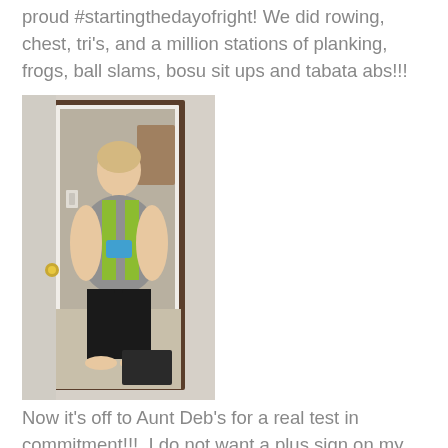proud #startingthedayofright! We did rowing, chest, tri's, and a million stations of planking, frogs, ball slams, bosu sit ups and tabata abs!!!
[Figure (photo): A person taking a mirror selfie in a bedroom doorway, wearing a gray tank top and black leggings, standing barefoot on carpet.]
Now it's off to Aunt Deb's for a real test in commitment!!!  I do not want a plus sign on my chalk